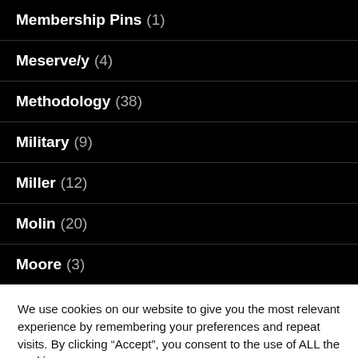Membership Pins (1)
Meserve/y (4)
Methodology (38)
Military (9)
Miller (12)
Molin (20)
Moore (3)
We use cookies on our website to give you the most relevant experience by remembering your preferences and repeat visits. By clicking “Accept”, you consent to the use of ALL the cookies.
Do not sell my personal information.
Cookie settings  ACCEPT